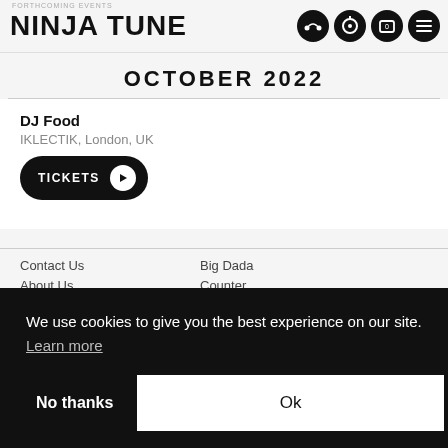FORTHCOMING EVENTS
NINJA TUNE
OCTOBER 2022
DJ Food
IKLECTIK, London, UK
TICKETS
Contact Us
Big Dada
We use cookies to give you the best experience on our site. Learn more
No thanks
Ok
Cookie Policy